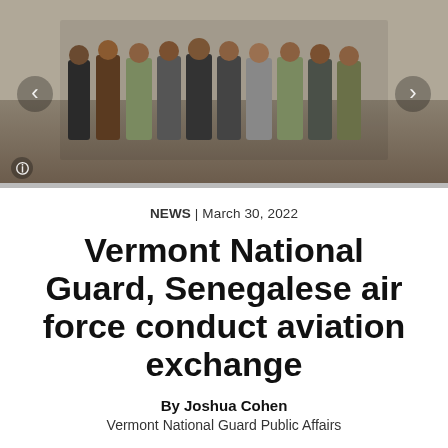[Figure (photo): Group photo of Vermont National Guard and Senegalese air force personnel standing together in what appears to be an aircraft hangar. People are wearing a mix of military uniforms and civilian clothing. Navigation arrows are visible on the left and right sides of the image.]
NEWS | March 30, 2022
Vermont National Guard, Senegalese air force conduct aviation exchange
By Joshua Cohen
Vermont National Guard Public Affairs
CAMP JOHNSON, Vermont  –  Vermont Army